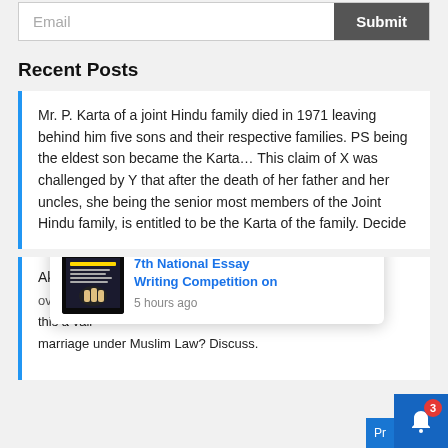[Figure (screenshot): Email input field with Submit button]
Recent Posts
Mr. P. Karta of a joint Hindu family died in 1971 leaving behind him five sons and their respective families. PS being the eldest son became the Karta… This claim of X was challenged by Y that after the death of her father and her uncles, she being the senior most members of the Joint Hindu family, is entitled to be the Karta of the family. Decide
Akbar an NRI resides in London, offers to marry [...]  over the phone [...] this a valid marriage under Muslim Law? Discuss.
[Figure (screenshot): Notification popup: 7th National Essay Writing Competition on — 5 hours ago, with book cover thumbnail. Close X button. Bell icon with badge '3'.]